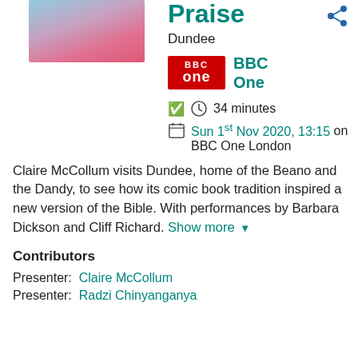[Figure (photo): Photo of a woman in a pink jacket outdoors, partially visible at top]
Praise
Dundee
[Figure (logo): BBC One red logo]
BBC One
34 minutes
Sun 1st Nov 2020, 13:15 on BBC One London
Claire McCollum visits Dundee, home of the Beano and the Dandy, to see how its comic book tradition inspired a new version of the Bible. With performances by Barbara Dickson and Cliff Richard. Show more
Contributors
Presenter: Claire McCollum
Presenter: Radzi Chinyanganya